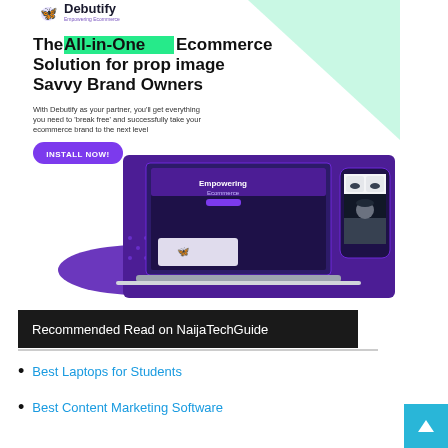[Figure (screenshot): Debutify ad banner — white background with mint green triangle top-right, Debutify logo top-left, bold headline 'The All-in-One Ecommerce Solution for prop image Savvy Brand Owners' with 'All-in-One' highlighted in green, body text, purple 'INSTALL NOW!' button, and device mockup images (laptop and phone) on purple background]
Recommended Read on NaijaTechGuide
Best Laptops for Students
Best Content Marketing Software